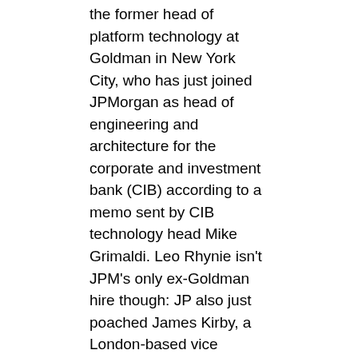the former head of platform technology at Goldman in New York City, who has just joined JPMorgan as head of engineering and architecture for the corporate and investment bank (CIB) according to a memo sent by CIB technology head Mike Grimaldi. Leo Rhynie isn't JPM's only ex-Goldman hire though: JP also just poached James Kirby, a London-based vice president who spent seven years at Goldman with a focus on enterprise architecture and technology implementation.
Morgan Stanley has been checking out Goldman's talent too. As we reported earlier this month, the U.S. bank hired Michael Ballard, a VP in digital product at Goldman in New York who joined as an executive director in product strategy.
The exits come as Goldman itself ramps up technology hiring while preparing to cut costs by moving as many as half its technology jobs outside of London. Goldman's technology business is in a